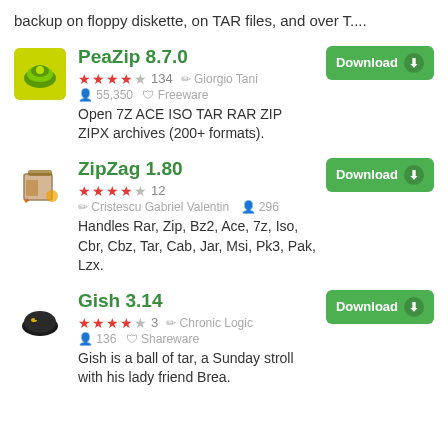backup on floppy diskette, on TAR files, and over T....
PeaZip 8.7.0 — ★★★★☆ 134 — Giorgio Tani — 55,350 — Freeware — Open 7Z ACE ISO TAR RAR ZIP ZIPX archives (200+ formats).
ZipZag 1.80 — ★★★★☆ 12 — Cristescu Gabriel Valentin — 296 — Handles Rar, Zip, Bz2, Ace, 7z, Iso, Cbr, Cbz, Tar, Cab, Jar, Msi, Pk3, Pak, Lzx.
Gish 3.14 — ★★★★☆ 3 — Chronic Logic — 136 — Shareware — Gish is a ball of tar, a Sunday stroll with his lady friend Brea.